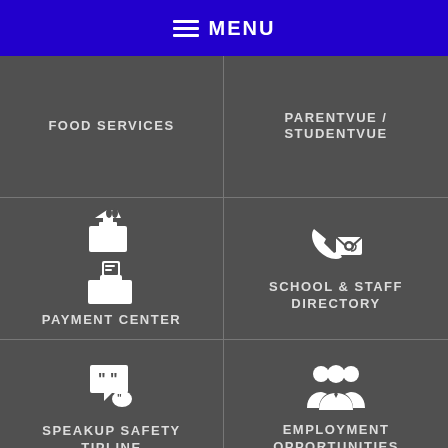MENU
FOOD SERVICES
PARENTVUE / STUDENTVUE
PAYMENT CENTER
SCHOOL & STAFF DIRECTORY
SPEAKUP SAFETY TIPLINE
EMPLOYMENT OPPORTUNITIES
WEBSITE ACCESSIBILITY